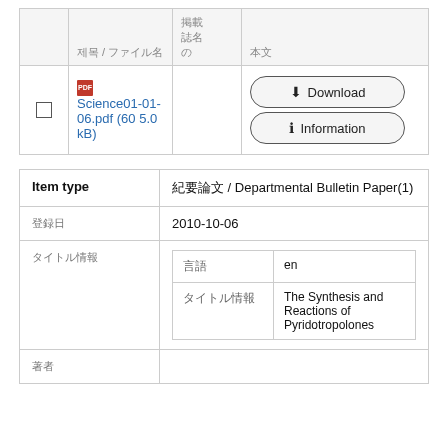|  | 제목 / ファイル名 | 掲載
誌名
の | 本文 |
| --- | --- | --- | --- |
| ☐ | 📄 Science01-01-06.pdf (605.0 kB) |  | Download | Information |
| Item type | 紀要論文 / Departmental Bulletin Paper(1) |
| --- | --- |
| 登録日 | 2010-10-06 |
| タイトル情報 |  |
| 言語 | en |
| タイトル | The Synthesis and Reactions of Pyridotropolones |
| 著者 |  |